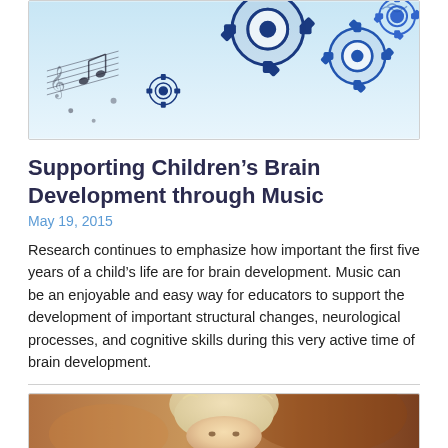[Figure (illustration): Decorative illustration of musical notes and blue mechanical gears on a light blue background]
Supporting Children's Brain Development through Music
May 19, 2015
Research continues to emphasize how important the first five years of a child's life are for brain development. Music can be an enjoyable and easy way for educators to support the development of important structural changes, neurological processes, and cognitive skills during this very active time of brain development.
[Figure (photo): Partial photo of a young child with light-colored hair, background blurred with warm tones]